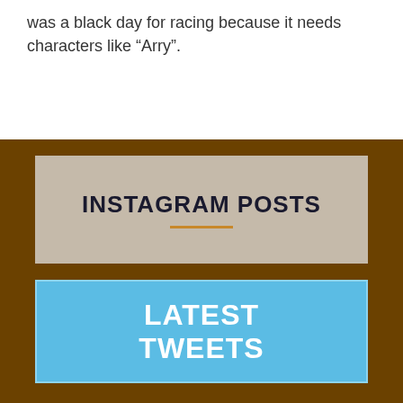was a black day for racing because it needs characters like “Arry”.
INSTAGRAM POSTS
LATEST TWEETS